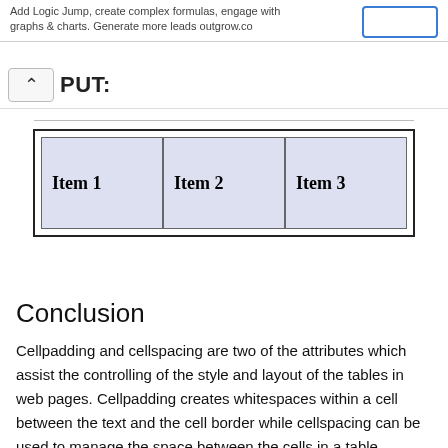Add Logic Jump, create complex formulas, engage with graphs & charts. Generate more leads outgrow.co
PUT:
| Item 1 | Item 2 | Item 3 |
Conclusion
Cellpadding and cellspacing are two of the attributes which assist the controlling of the style and layout of the tables in web pages. Cellpadding creates whitespaces within a cell between the text and the cell border while cellspacing can be used to manage the space between the cells in a table.